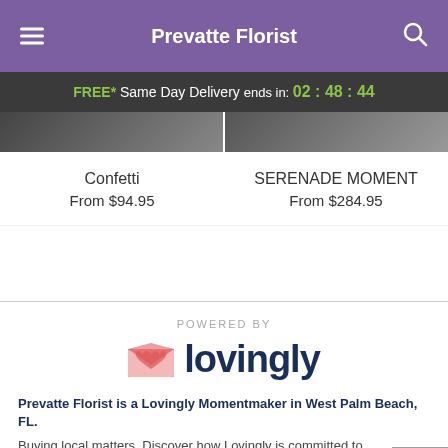Prevatte Florist
FREE* Same Day Delivery ends in: 02 : 48 : 44
[Figure (photo): Product images strip showing Confetti and SERENADE MOMENT floral arrangements]
Confetti
From $94.95
SERENADE MOMENT
From $284.95
[Figure (logo): Powered by Lovingly logo with pink heart/envelope icon and dark navy text]
Prevatte Florist is a Lovingly Momentmaker in West Palm Beach, FL.
Buying local matters. Discover how Lovingly is committed to strengthening relationships by helping local florists market, sell, and deliver their floral